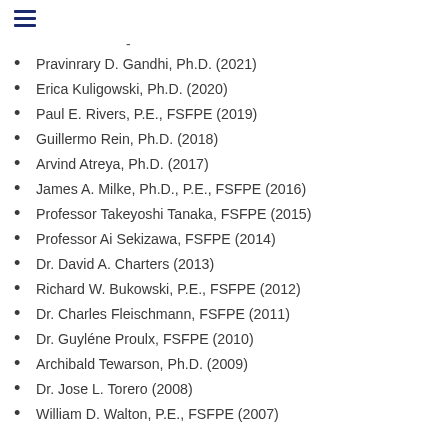Pravinrary D. Gandhi, Ph.D. (2021)
Erica Kuligowski, Ph.D. (2020)
Paul E. Rivers, P.E., FSFPE (2019)
Guillermo Rein, Ph.D. (2018)
Arvind Atreya, Ph.D. (2017)
James A. Milke, Ph.D., P.E., FSFPE (2016)
Professor Takeyoshi Tanaka, FSFPE (2015)
Professor Ai Sekizawa, FSFPE (2014)
Dr. David A. Charters (2013)
Richard W. Bukowski, P.E., FSFPE (2012)
Dr. Charles Fleischmann, FSFPE (2011)
Dr. Guyléne Proulx, FSFPE (2010)
Archibald Tewarson, Ph.D. (2009)
Dr. Jose L. Torero (2008)
William D. Walton, P.E., FSFPE (2007)